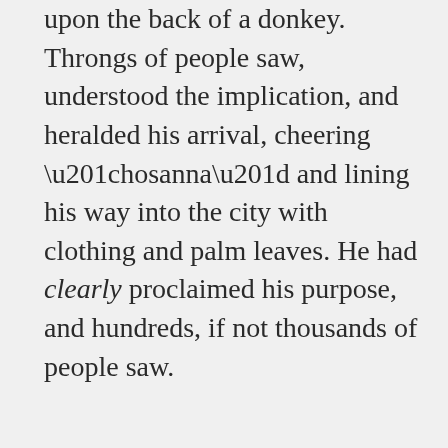upon the back of a donkey. Throngs of people saw, understood the implication, and heralded his arrival, cheering “hosanna” and lining his way into the city with clothing and palm leaves. He had clearly proclaimed his purpose, and hundreds, if not thousands of people saw.